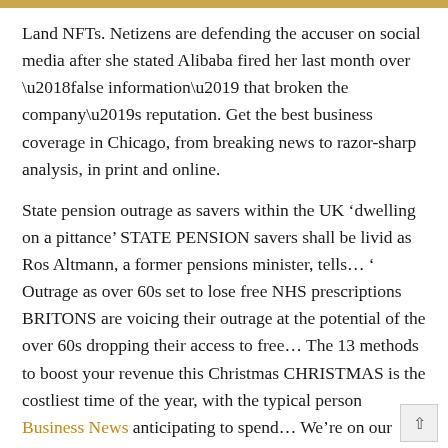Land NFTs. Netizens are defending the accuser on social media after she stated Alibaba fired her last month over ‘false information’ that broken the company’s reputation. Get the best business coverage in Chicago, from breaking news to razor-sharp analysis, in print and online.
State pension outrage as savers within the UK ‘dwelling on a pittance’ STATE PENSION savers shall be livid as Ros Altmann, a former pensions minister, tells… ’ Outrage as over 60s set to lose free NHS prescriptions BRITONS are voicing their outrage at the potential of the over 60s dropping their access to free… The 13 methods to boost your revenue this Christmas CHRISTMAS is the costliest time of the year, with the typical person Business News anticipating to spend… We’re on our personal – nightmare as Rishi Sunak and Bank of England name inflation incorrect AGAIN CHANCELLOR RISHI SUNAK advised us inflation would hit four p.c next 12 months. Pound soars against Euro as Bank of England and European Central Bank at odds THE POUND has surged ahead of the Euro following